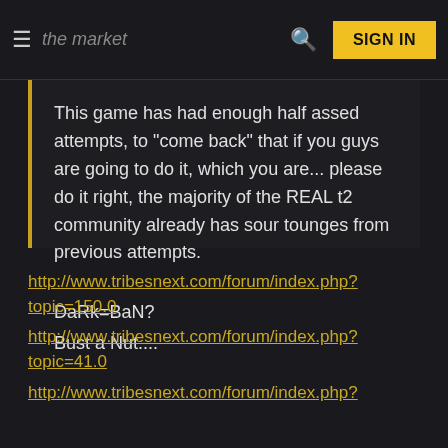the market
This game has had enough half assed attempts, to "come back" that if you guys are going to do it, which you are... please do it right, the majority of the REAL t2 community already has sour tounges from previous attempts.

DaRk=BaN?
Bust a Nut....
http://www.tribesnext.com/forum/index.php?topic=150.0
http://www.tribesnext.com/forum/index.php?topic=41.0
http://www.tribesnext.com/forum/index.php?